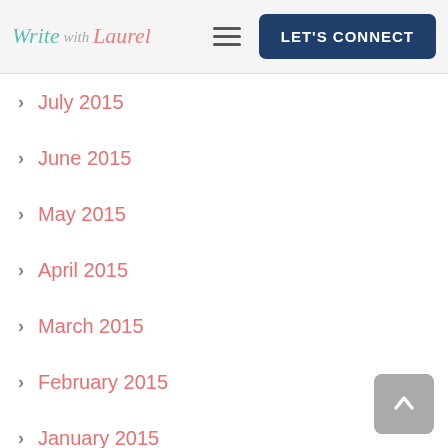Write with Laurel | LET'S CONNECT
July 2015
June 2015
May 2015
April 2015
March 2015
February 2015
January 2015
December 2014
November 2014
October 2014
August 2014
July 2014
June 2014
May 2014